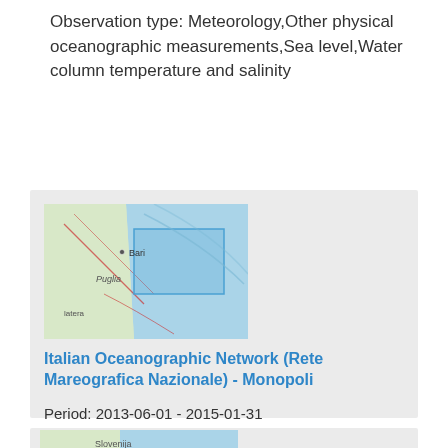Observation type: Meteorology,Other physical oceanographic measurements,Sea level,Water column temperature and salinity
[Figure (map): Map showing the Bari/Puglia coastal area of Italy with a highlighted rectangular region over the Adriatic Sea]
Italian Oceanographic Network (Rete Mareografica Nazionale) - Monopoli
Period: 2013-06-01 - 2015-01-31
Observation type: Meteorology,Other physical oceanographic measurements,Water column temperature and salinity,Waves
[Figure (map): Map showing Slovenia region]